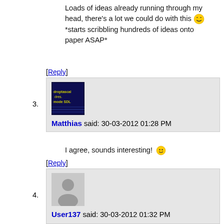Loads of ideas already running through my head, there's a lot we could do with this 😁 *starts scribbling hundreds of ideas onto paper ASAP*
[Reply]
3. Matthias said: 30-03-2012 01:28 PM
I agree, sounds interesting! 😊
[Reply]
4. User137 said: 30-03-2012 01:32 PM